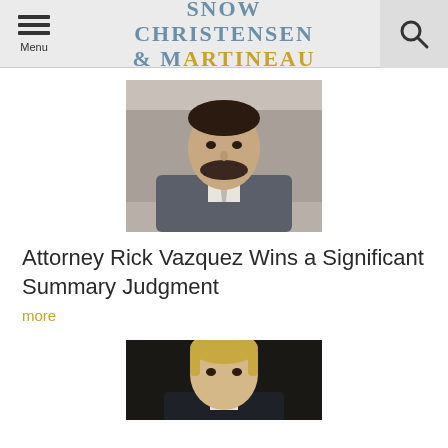Menu | Snow Christensen & Martineau | Search
[Figure (photo): Professional headshot of attorney Rick Vazquez wearing a gray suit and tie, standing in front of a stone wall background]
Attorney Rick Vazquez Wins a Significant Summary Judgment
more
[Figure (photo): Professional headshot of a second attorney with blonde hair wearing a dark suit, partially visible at bottom of page]